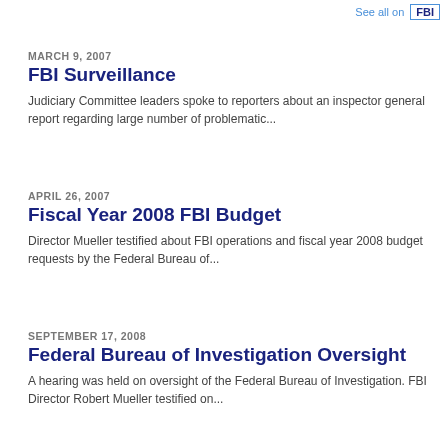See all on FBI
MARCH 9, 2007
FBI Surveillance
Judiciary Committee leaders spoke to reporters about an inspector general report regarding large number of problematic...
APRIL 26, 2007
Fiscal Year 2008 FBI Budget
Director Mueller testified about FBI operations and fiscal year 2008 budget requests by the Federal Bureau of...
SEPTEMBER 17, 2008
Federal Bureau of Investigation Oversight
A hearing was held on oversight of the Federal Bureau of Investigation. FBI Director Robert Mueller testified on...